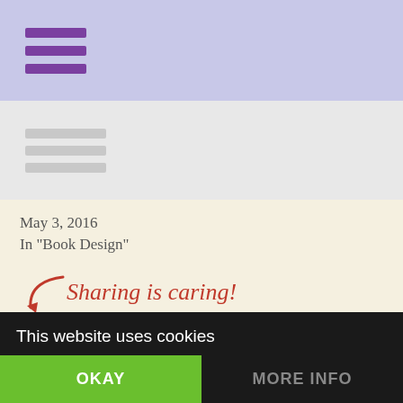[Figure (screenshot): Purple hamburger menu icon (three horizontal purple bars) on a light periwinkle/lavender header bar]
[Figure (screenshot): Three horizontal grey lines (content placeholder/loading bars) on a light grey sub-header bar]
May 3, 2016
In "Book Design"
[Figure (infographic): Sharing is caring! text in red cursive with a red arrow pointing to five blue social sharing buttons: Twitter, Facebook, Pinterest, Email, and a share/sync icon]
Related info:
This website uses cookies
OKAY
MORE INFO